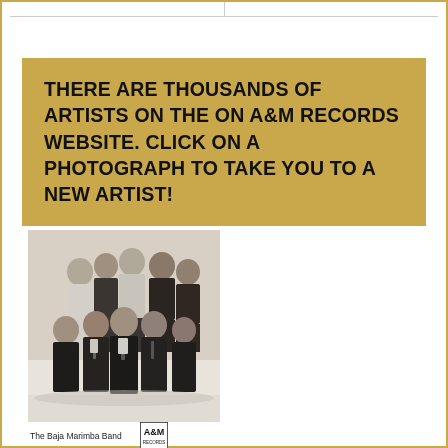THERE ARE THOUSANDS OF ARTISTS ON THE ON A&M RECORDS WEBSITE. CLICK ON A PHOTOGRAPH TO TAKE YOU TO A NEW ARTIST!
[Figure (photo): Black and white group photo of The Baja Marimba Band, showing approximately 9 men in formal attire posed together]
The Baja Marimba Band